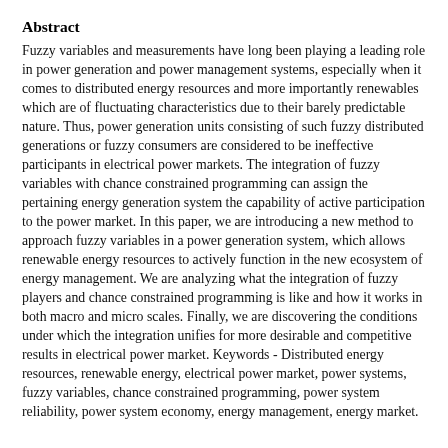Abstract
Fuzzy variables and measurements have long been playing a leading role in power generation and power management systems, especially when it comes to distributed energy resources and more importantly renewables which are of fluctuating characteristics due to their barely predictable nature. Thus, power generation units consisting of such fuzzy distributed generations or fuzzy consumers are considered to be ineffective participants in electrical power markets. The integration of fuzzy variables with chance constrained programming can assign the pertaining energy generation system the capability of active participation to the power market. In this paper, we are introducing a new method to approach fuzzy variables in a power generation system, which allows renewable energy resources to actively function in the new ecosystem of energy management. We are analyzing what the integration of fuzzy players and chance constrained programming is like and how it works in both macro and micro scales. Finally, we are discovering the conditions under which the integration unifies for more desirable and competitive results in electrical power market. Keywords - Distributed energy resources, renewable energy, electrical power market, power systems, fuzzy variables, chance constrained programming, power system reliability, power system economy, energy management, energy market.